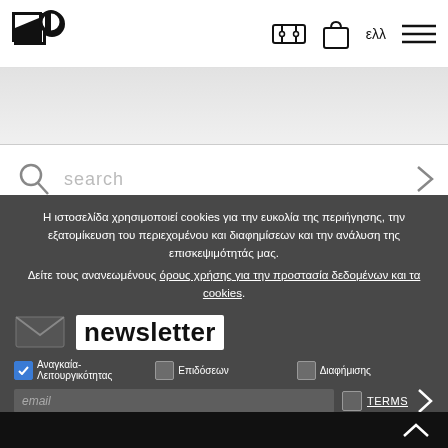[Figure (logo): Black geometric logo with square and circle]
[Figure (other): Navigation icons: ticket, shopping bag, language selector (ελλ), hamburger menu]
[Figure (other): Gray banner area below header]
[Figure (other): Search icon and search text field]
Η ιστοσελίδα χρησιμοποιεί cookies για την ευκολία της περιήγησης, την εξατομίκευση του περιεχομένου και διαφημίσεων και την ανάλυση της επισκεψιμότητάς μας.
Δείτε τους ανανεωμένους όρους χρήσης για την προστασία δεδομένων και τα cookies.
[Figure (other): Newsletter envelope icon and newsletter label]
Αναγκαία-Λειτουργικότητας
Επιδόσεων
Διαφήμισης
email
TERMS
ΑΠΟΔΟΧΗ ΕΠΙΛΕΓΜΕΝΩΝ
ΑΠΟΔΟΧΗ ΟΛΩΝ
[Figure (other): Dark footer with up-arrow chevron]